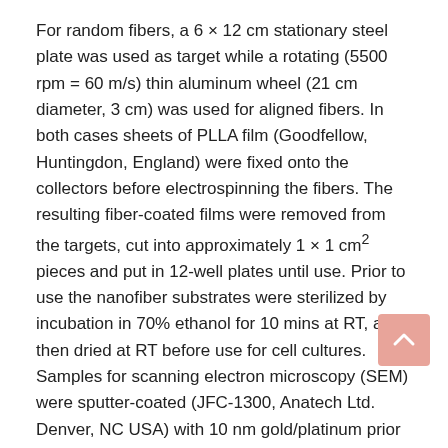For random fibers, a 6 × 12 cm stationary steel plate was used as target while a rotating (5500 rpm = 60 m/s) thin aluminum wheel (21 cm diameter, 3 cm) was used for aligned fibers. In both cases sheets of PLLA film (Goodfellow, Huntingdon, England) were fixed onto the collectors before electrospinning the fibers. The resulting fiber-coated films were removed from the targets, cut into approximately 1 × 1 cm² pieces and put in 12-well plates until use. Prior to use the nanofiber substrates were sterilized by incubation in 70% ethanol for 10 mins at RT, and then dried at RT before use for cell cultures. Samples for scanning electron microscopy (SEM) were sputter-coated (JFC-1300, Anatech Ltd. Denver, NC USA) with 10 nm gold/platinum prior to observation.
2.1.2. Control Surfaces
Two flat culture surfaces were used, i.e., PLLA film (Goodfellow, UK) and PLL-coated glass slides (4 μg/cm², Sigma).